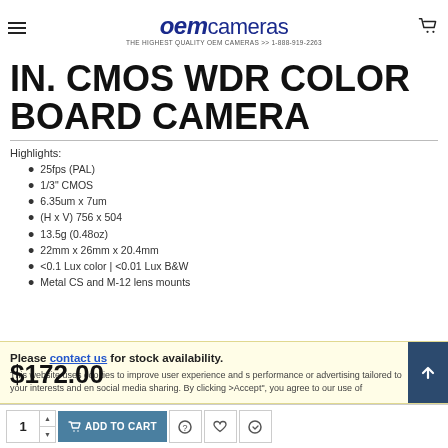OEM Cameras — THE HIGHEST QUALITY OEM CAMERAS >> 1-888-919-2263
IN. CMOS WDR COLOR BOARD CAMERA
Highlights:
25fps (PAL)
1/3" CMOS
6.35um x 7um
(H x V) 756 x 504
13.5g (0.48oz)
22mm x 26mm x 20.4mm
<0.1 Lux color | <0.01 Lux B&W
Metal CS and M-12 lens mounts
This website uses cookies to improve user experience and s performance or advertising tailored to your interests and en social media sharing. By clicking >Accept", you agree to our use of
Please contact us for stock availability.
$172.00